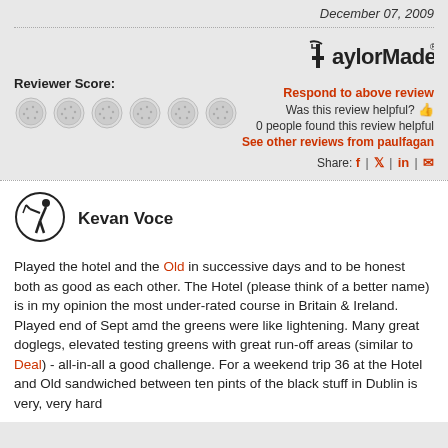December 07, 2009
Reviewer Score:
[Figure (other): TaylorMade golf brand logo with checkmark T icon]
Respond to above review
Was this review helpful? 👍
0 people found this review helpful
See other reviews from paulfagan
Share: f | 🐦 | in | ✉
[Figure (illustration): Circular golfer silhouette icon for reviewer Kevan Voce]
Kevan Voce
Played the hotel and the Old in successive days and to be honest both as good as each other. The Hotel (please think of a better name) is in my opinion the most under-rated course in Britain & Ireland. Played end of Sept amd the greens were like lightening. Many great doglegs, elevated testing greens with great run-off areas (similar to Deal) - all-in-all a good challenge. For a weekend trip 36 at the Hotel and Old sandwiched between ten pints of the black stuff in Dublin is very, very hard